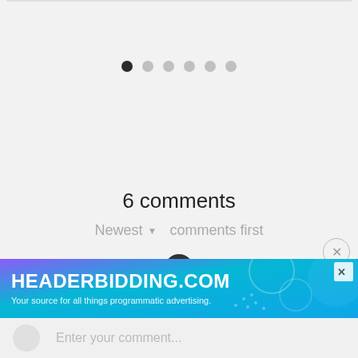[Figure (other): Pagination dots — six circles, first one dark/active, rest light gray]
6 comments
Newest ▾  comments first
[Figure (illustration): Penguin emoji avatar icon]
[Figure (screenshot): HEADERBIDDING.COM advertisement banner — 'Your source for all things programmatic advertising.']
Enter your comment...